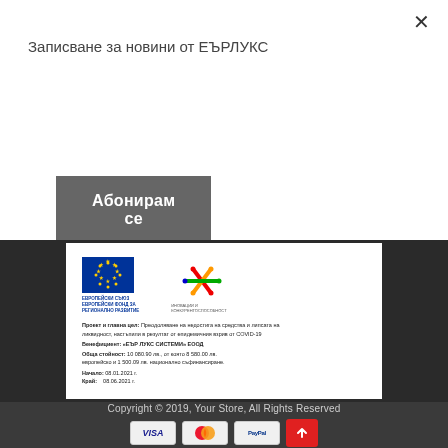Записване за новини от ЕЪРЛУКС
Абонирам се
[Figure (other): EU project document card with European Union flag logo and Innovation and Competitiveness fund logo. Contains project details about Beneficiary: 'ЕЪР ЛУКС СИСТЕМИ' ЕOOD, total value 10 080.90 lv., start 08.01.2021, end 08.06.2021.]
Copyright © 2019, Your Store, All Rights Reserved